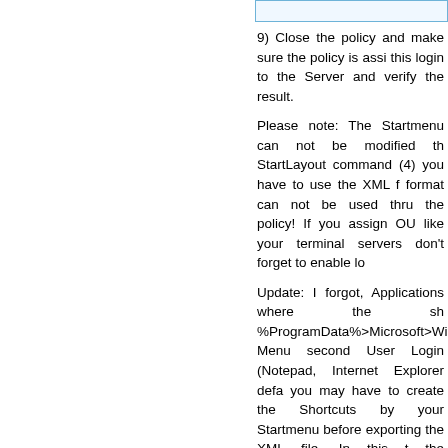[Figure (screenshot): Top bar / input field area with blue border]
9) Close the policy and make sure the policy is assigned. Do this login to the Server and verify the result.
Please note: The Startmenu can not be modified thru the StartLayout command (4) you have to use the XML format can not be used thru the policy! If you assign OU like your terminal servers don't forget to enable lo
Update: I forgot, Applications where the shortcut is in %ProgramData%>Microsoft>Windows>Start Menu will show on second User Login (Notepad, Internet Explorer default) you may have to create the Shortcuts by your own in the Startmenu before exporting the XML file. In this the Applications that should be shown to the User applications view by editing the User permissions for very simple way. As example if you want to hide the permission inheritance and set the User permissions Administrators", "System", "Administrators" and ad should be able to gain access to the Applications thru (Arrow down button in the Startmenu). If you want to the general Application access you can also Windows Applocker feature.
Way 2 – Flexible default Startmenu for all U Platform)